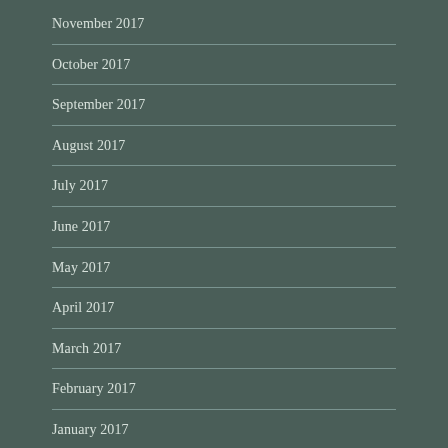November 2017
October 2017
September 2017
August 2017
July 2017
June 2017
May 2017
April 2017
March 2017
February 2017
January 2017
December 2016
November 2016